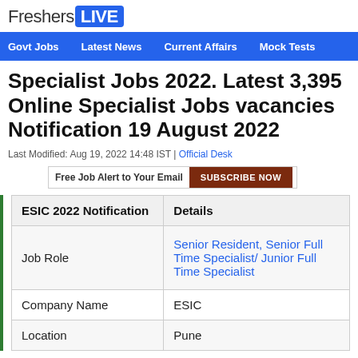FreshersLIVE
Govt Jobs | Latest News | Current Affairs | Mock Tests
Specialist Jobs 2022. Latest 3,395 Online Specialist Jobs vacancies Notification 19 August 2022
Last Modified: Aug 19, 2022 14:48 IST | Official Desk
Free Job Alert to Your Email SUBSCRIBE NOW
| ESIC 2022 Notification | Details |
| --- | --- |
| Job Role | Senior Resident, Senior Full Time Specialist/ Junior Full Time Specialist |
| Company Name | ESIC |
| Location | Pune |